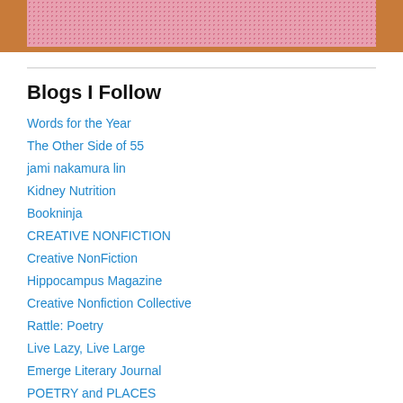[Figure (photo): Top portion of a book or object with pink dotted/textured cover on a brown/orange wooden surface]
Blogs I Follow
Words for the Year
The Other Side of 55
jami nakamura lin
Kidney Nutrition
Bookninja
CREATIVE NONFICTION
Creative NonFiction
Hippocampus Magazine
Creative Nonfiction Collective
Rattle: Poetry
Live Lazy, Live Large
Emerge Literary Journal
POETRY and PLACES
Dionysian GENERATOR
Rod Aldor Review